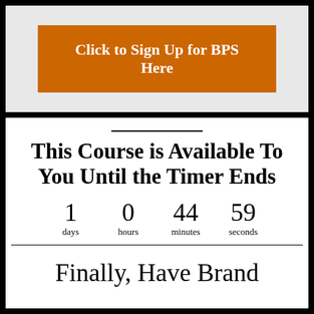Click to Sign Up for BPS Here
This Course is Available To You Until the Timer Ends
1 days  0 hours  44 minutes  59 seconds
Finally, Have Brand